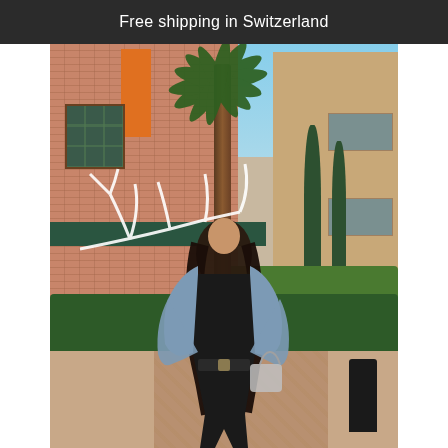Free shipping in Switzerland
[Figure (photo): A woman with long dark hair wearing a black bodysuit, light denim jacket, Louis Vuitton belt and carrying a bag, walking in an outdoor luxury resort setting with brick and stone buildings, palm tree, cypress trees, hedges, and manicured gardens in the background under a blue sky.]